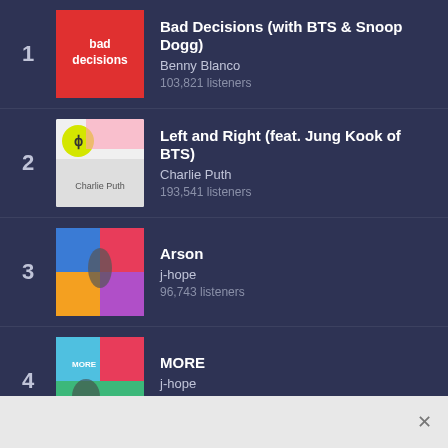1. Bad Decisions (with BTS & Snoop Dogg) - Benny Blanco - 103,821 listeners
2. Left and Right (feat. Jung Kook of BTS) - Charlie Puth - 193,541 listeners
3. Arson - j-hope - 96,743 listeners
4. MORE - j-hope - 113,975 listeners
5. Yet to Come - BTS